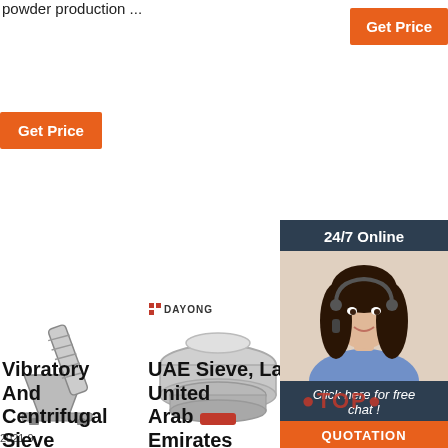powder production ...
Get Price
Get Price
24/7 Online
Click here for free chat !
QUOTATION
[Figure (photo): Chat support lady with headset]
[Figure (photo): Screw conveyor / auger machine]
[Figure (photo): Dayong brand circular vibrating sieve machine]
[Figure (photo): Dayong brand sieve machine partially visible]
Vibratory And Centrifugal Sieve
UAE Sieve, United Arab Emirates (Dubai)
Test Sieve Suppliers & Exporters In UAE
2021.9